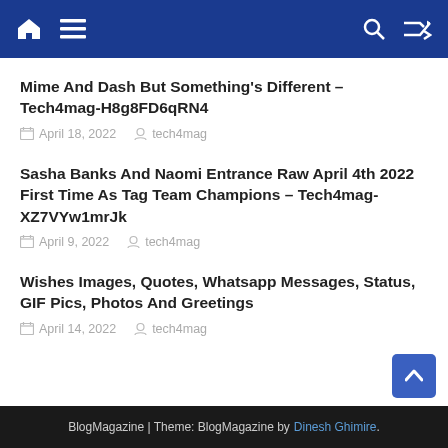Navigation bar with home, menu, search, and shuffle icons
Mime And Dash But Something's Different – Tech4mag-H8g8FD6qRN4
April 18, 2022  tech4mag
Sasha Banks And Naomi Entrance Raw April 4th 2022 First Time As Tag Team Champions – Tech4mag-XZ7VYw1mrJk
April 9, 2022  tech4mag
Wishes Images, Quotes, Whatsapp Messages, Status, GIF Pics, Photos And Greetings
April 14, 2022  tech4mag
BlogMagazine | Theme: BlogMagazine by Dinesh Ghimire.